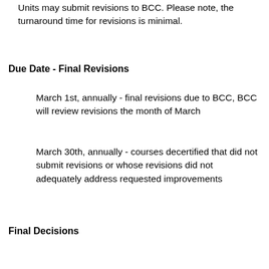Units may submit revisions to BCC. Please note, the turnaround time for revisions is minimal.
Due Date - Final Revisions
March 1st, annually - final revisions due to BCC, BCC will review revisions the month of March
March 30th, annually - courses decertified that did not submit revisions or whose revisions did not adequately address requested improvements
Final Decisions
March 30th, annually - Designees will receive a letter of final decisions
April 1, annually - prior to summer term